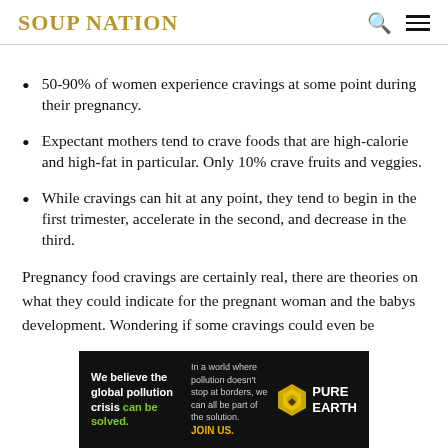SOUP NATION
50-90% of women experience cravings at some point during their pregnancy.
Expectant mothers tend to crave foods that are high-calorie and high-fat in particular. Only 10% crave fruits and veggies.
While cravings can hit at any point, they tend to begin in the first trimester, accelerate in the second, and decrease in the third.
Pregnancy food cravings are certainly real, there are theories on what they could indicate for the pregnant woman and the babys development. Wondering if some cravings could even be
[Figure (infographic): Pure Earth advertisement banner: 'We believe the global pollution crisis can be solved. In a world where pollution doesn't stop at borders, we can all be part of the solution. JOIN US.' with Pure Earth logo.]